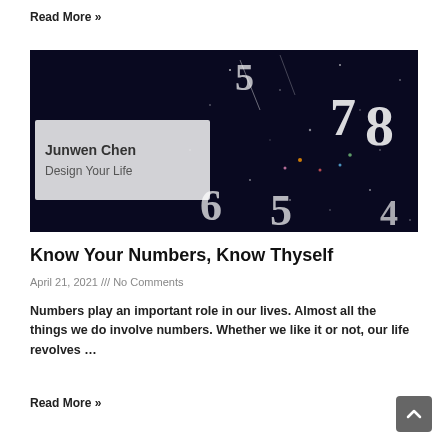Read More »
[Figure (photo): Dark background with glowing numbers floating in space; overlay box shows 'Junwen Chen Design Your Life']
Know Your Numbers, Know Thyself
April 21, 2021 /// No Comments
Numbers play an important role in our lives. Almost all the things we do involve numbers. Whether we like it or not, our life revolves …
Read More »